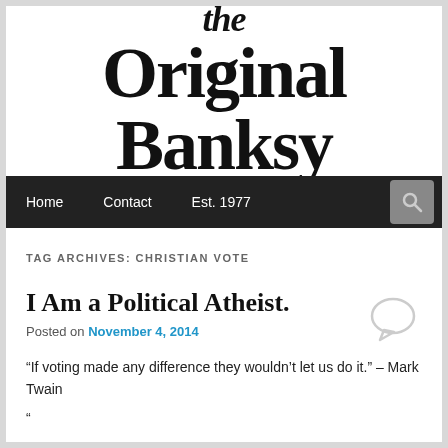the Original Banksy
Home | Contact | Est. 1977
TAG ARCHIVES: CHRISTIAN VOTE
I Am a Political Atheist.
Posted on November 4, 2014
“If voting made any difference they wouldn’t let us do it.” – Mark Twain